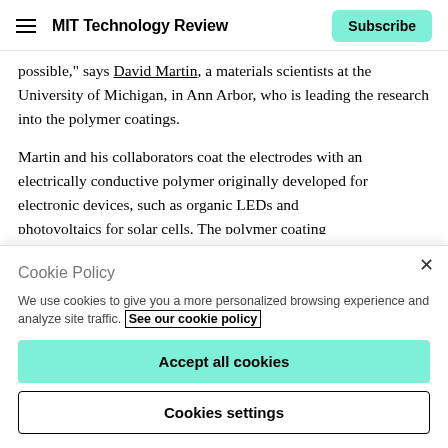MIT Technology Review | Subscribe
possible,” says David Martin, a materials scientists at the University of Michigan, in Ann Arbor, who is leading the research into the polymer coatings.

Martin and his collaborators coat the electrodes with an electrically conductive polymer originally developed for electronic devices, such as organic LEDs and photovoltaics for solar cells. The polymer coating
Cookie Policy

We use cookies to give you a more personalized browsing experience and analyze site traffic. See our cookie policy

Accept all cookies

Cookies settings